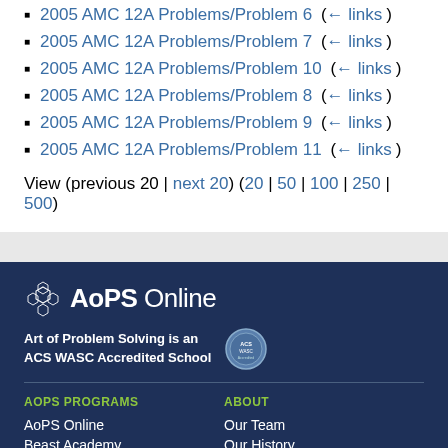2005 AMC 12A Problems/Problem 6 (← links)
2005 AMC 12A Problems/Problem 7 (← links)
2005 AMC 12A Problems/Problem 10 (← links)
2005 AMC 12A Problems/Problem 8 (← links)
2005 AMC 12A Problems/Problem 9 (← links)
2005 AMC 12A Problems/Problem 11 (← links)
View (previous 20 | next 20) (20 | 50 | 100 | 250 | 500)
[Figure (logo): AoPS Online logo with hexagonal grid icon]
Art of Problem Solving is an ACS WASC Accredited School
AOPS PROGRAMS
AoPS Online
Beast Academy
AoPS Academy
ABOUT
Our Team
Our History
Jobs